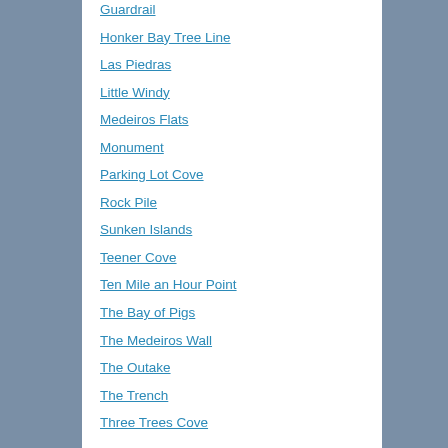Guardrail
Honker Bay Tree Line
Las Piedras
Little Windy
Medeiros Flats
Monument
Parking Lot Cove
Rock Pile
Sunken Islands
Teener Cove
Ten Mile an Hour Point
The Bay of Pigs
The Medeiros Wall
The Outake
The Trench
Three Trees Cove